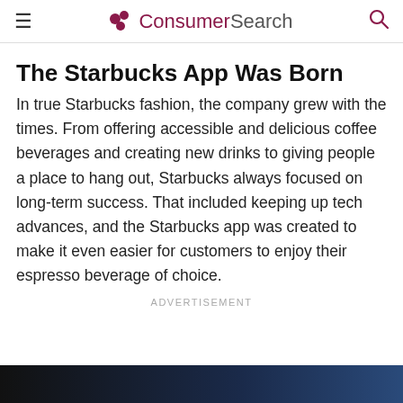ConsumerSearch
The Starbucks App Was Born
In true Starbucks fashion, the company grew with the times. From offering accessible and delicious coffee beverages and creating new drinks to giving people a place to hang out, Starbucks always focused on long-term success. That included keeping up tech advances, and the Starbucks app was created to make it even easier for customers to enjoy their espresso beverage of choice.
ADVERTISEMENT
[Figure (photo): Dark background photo strip at bottom of page]